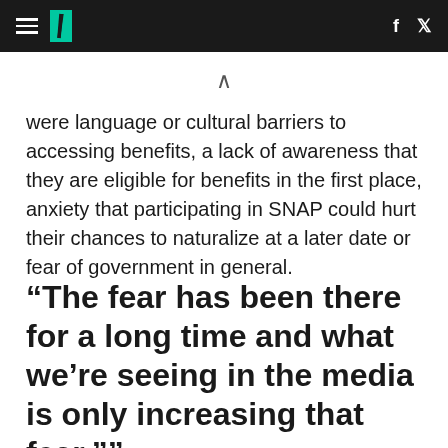HuffPost navigation header with hamburger menu, logo, Facebook and Twitter icons
were language or cultural barriers to accessing benefits, a lack of awareness that they are eligible for benefits in the first place, anxiety that participating in SNAP could hurt their chances to naturalize at a later date or fear of government in general.
“The fear has been there for a long time and what we’re seeing in the media is only increasing that fear.””